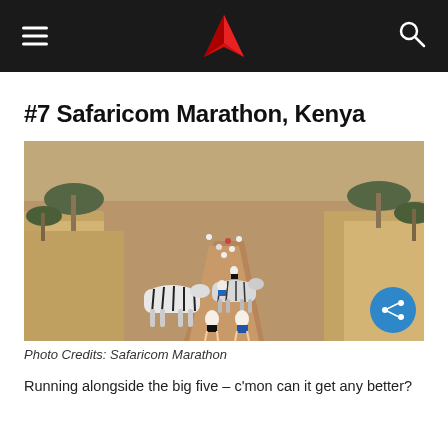Safaricom Marathon article header navigation
#7 Safaricom Marathon, Kenya
[Figure (photo): Aerial-perspective photo of marathon runners on a dirt path through dry African savanna grassland with acacia trees, with two zebras crossing the path among the runners]
Photo Credits: Safaricom Marathon
Running alongside the big five – c'mon can it get any better?